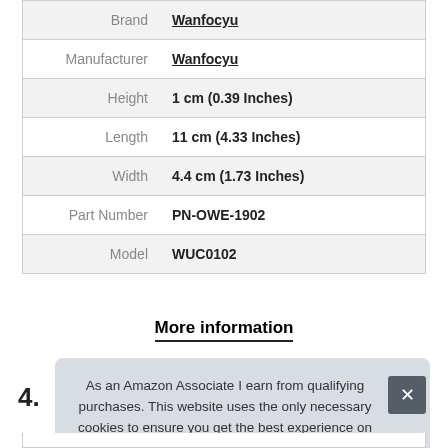| Attribute | Value |
| --- | --- |
| Brand | Wanfocyu |
| Manufacturer | Wanfocyu |
| Height | 1 cm (0.39 Inches) |
| Length | 11 cm (4.33 Inches) |
| Width | 4.4 cm (1.73 Inches) |
| Part Number | PN-OWE-1902 |
| Model | WUC0102 |
More information
4.
As an Amazon Associate I earn from qualifying purchases. This website uses the only necessary cookies to ensure you get the best experience on our website. More information